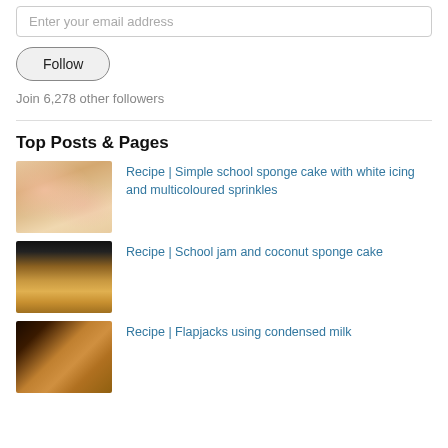Enter your email address
Follow
Join 6,278 other followers
Top Posts & Pages
[Figure (photo): Sponge cake with white icing and multicoloured sprinkles]
Recipe | Simple school sponge cake with white icing and multicoloured sprinkles
[Figure (photo): School jam and coconut sponge cake slices on dark background]
Recipe | School jam and coconut sponge cake
[Figure (photo): Flapjacks using condensed milk on dark background]
Recipe | Flapjacks using condensed milk